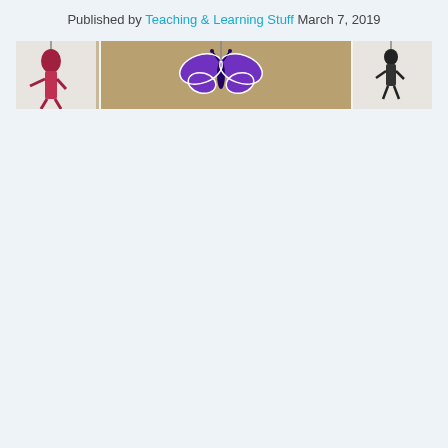Published by Teaching & Learning Stuff March 7, 2019
[Figure (photo): Classroom photo showing decorative hanging items including a purple butterfly cutout in the center, a red figure on the left, and a dark figure on the right, against a brown/tan ceiling or board background with white dividers.]